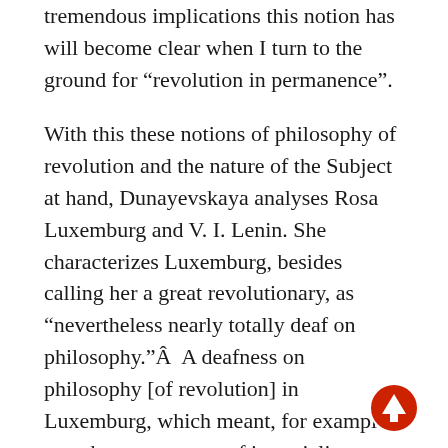tremendous implications this notion has will become clear when I turn to the ground for “revolution in permanence”.
With this these notions of philosophy of revolution and the nature of the Subject at hand, Dunayevskaya analyses Rosa Luxemburg and V. I. Lenin. She characterizes Luxemburg, besides calling her a great revolutionary, as “nevertheless nearly totally deaf on philosophy.”Â  A deafness on philosophy [of revolution] in Luxemburg, which meant, for example, as to her assessment of imperialism “that Rosa Luxemburg, so far in advance of all other Marxists, so movingly described the [imperialist subjugation of the masses] in the Kalahari desert, Morocco, Namibia, Martinique but couldn’t see them as Reason?” (“Forces of Revolt as Reason, Philosophy as Force